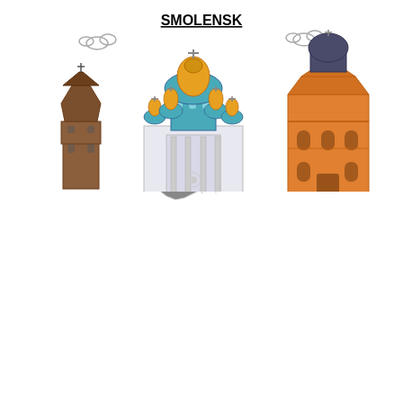[Figure (map): Gray county/region map of North Dakota showing county boundaries in white lines on gray fill]
[Figure (illustration): Smolensk city skyline illustration with label 'SMOLENSK' in bold underlined text at top center. Features three architectural landmarks: left - a brown wooden tower with cross; center - a large ornate Russian Orthodox cathedral with teal/blue domes topped with golden onion domes and a cross; right - an orange/amber classical church building with a dark dome and cross. Two small cloud outlines visible on upper left and upper right.]